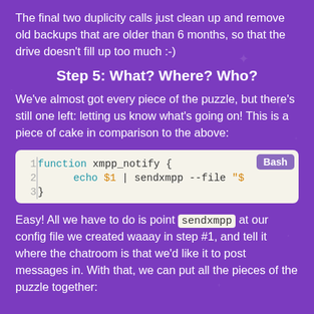The final two duplicity calls just clean up and remove old backups that are older than 6 months, so that the drive doesn't fill up too much :-)
Step 5: What? Where? Who?
We've almost got every piece of the puzzle, but there's still one left: letting us know what's going on! This is a piece of cake in comparison to the above:
[Figure (screenshot): Bash code block showing function xmpp_notify { echo $1 | sendxmpp --file "$..." }]
Easy! All we have to do is point sendxmpp at our config file we created waaay in step #1, and tell it where the chatroom is that we'd like it to post messages in. With that, we can put all the pieces of the puzzle together: